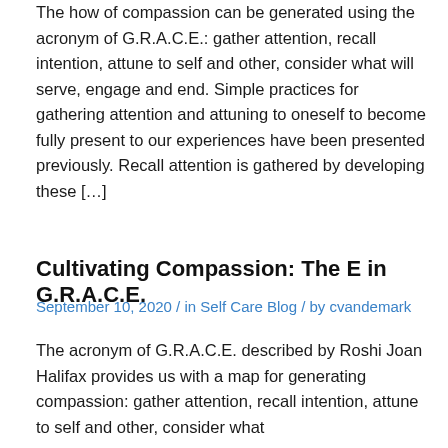The how of compassion can be generated using the acronym of G.R.A.C.E.: gather attention, recall intention, attune to self and other, consider what will serve, engage and end. Simple practices for gathering attention and attuning to oneself to become fully present to our experiences have been presented previously. Recall attention is gathered by developing these […]
Cultivating Compassion: The E in G.R.A.C.E.
September 10, 2020 / in Self Care Blog / by cvandemark
The acronym of G.R.A.C.E. described by Roshi Joan Halifax provides us with a map for generating compassion: gather attention, recall intention, attune to self and other, consider what